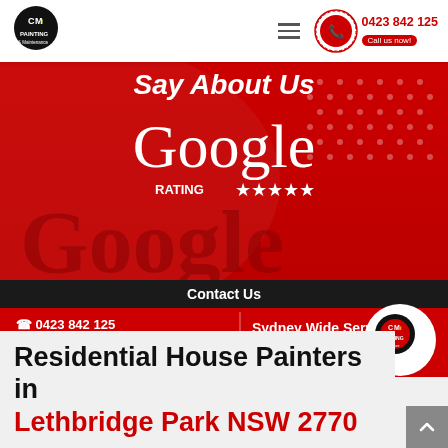CMi Painting & Maintenance | 0423 842 125 | Call us now!
[Figure (screenshot): Promotional banner for CMi Painting & Maintenance showing Google Rating 5 stars, contact info: 0423 842 125, mipainting.com.au, Sydney Wide Services – Reliable. Trusted. Affordable.]
Residential House Painters in Lethbridge Park NSW 2770